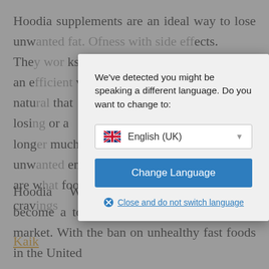Hoodia supplements are an ideal way to lose unw...left. Of...with...side effects. The...ks as an e...very natu...that losin...or a long...much unw...ents are w...food crav...
[Figure (screenshot): A language-switch modal dialog overlaid on a webpage. The modal contains text: 'We've detected you might be speaking a different language. Do you want to change to:' followed by a dropdown showing 'English (UK)' with a UK flag, a blue 'Change Language' button, and a 'Close and do not switch language' link with an X icon.]
Hoodia Weightdiet Supplements have become a top nutritional supplement in the market. With the ban on unhealthy fast foods in the United